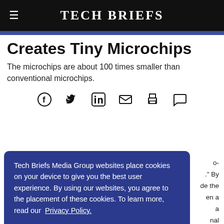TECH BRIEFS
Creates Tiny Microchips
The microchips are about 100 times smaller than conventional microchips.
[Figure (infographic): Social media sharing icons: Facebook, Twitter, LinkedIn, Email, Print, Comment]
Tech Briefs Media Group websites place cookies on your device to give you the best user experience. By using our websites, you agree to the placement of these cookies. To learn more, read our Privacy Policy.
Accept & Continue
microchips.